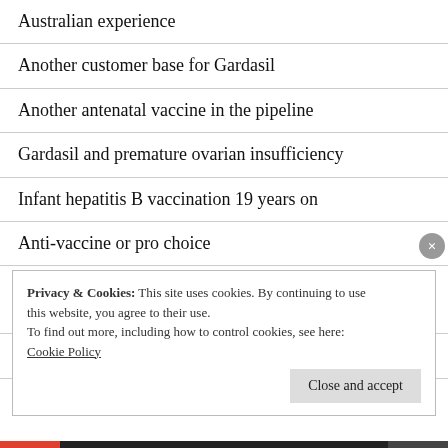Australian experience
Another customer base for Gardasil
Another antenatal vaccine in the pipeline
Gardasil and premature ovarian insufficiency
Infant hepatitis B vaccination 19 years on
Anti-vaccine or pro choice
‘Vaccines, Autoimmunity, and the Changing Nature of Childhood illness’ by Thomas Cowan
HPV vaccines and dysautonomia
Privacy & Cookies: This site uses cookies. By continuing to use this website, you agree to their use.
To find out more, including how to control cookies, see here:
Cookie Policy
Close and accept